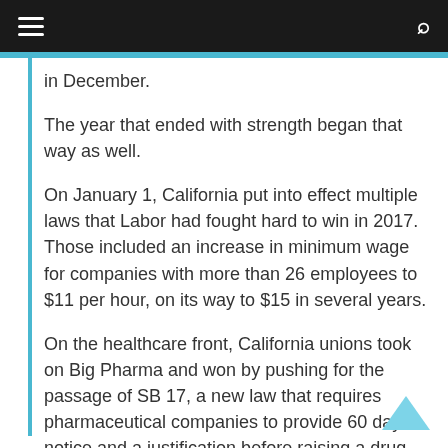≡  🔍
in December.
The year that ended with strength began that way as well.
On January 1, California put into effect multiple laws that Labor had fought hard to win in 2017. Those included an increase in minimum wage for companies with more than 26 employees to $11 per hour, on its way to $15 in several years.
On the healthcare front, California unions took on Big Pharma and won by pushing for the passage of SB 17, a new law that requires pharmaceutical companies to provide 60 days notice and a justification before raising a drug price more than 16 percent over two years.
Labor also helped with the passage of SB 396